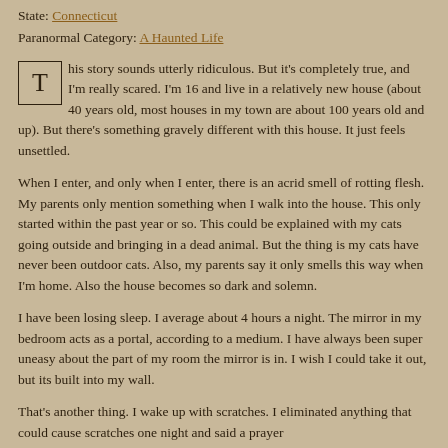State: Connecticut
Paranormal Category: A Haunted Life
his story sounds utterly ridiculous. But it's completely true, and I'm really scared. I'm 16 and live in a relatively new house (about 40 years old, most houses in my town are about 100 years old and up). But there's something gravely different with this house. It just feels unsettled.
When I enter, and only when I enter, there is an acrid smell of rotting flesh. My parents only mention something when I walk into the house. This only started within the past year or so. This could be explained with my cats going outside and bringing in a dead animal. But the thing is my cats have never been outdoor cats. Also, my parents say it only smells this way when I'm home. Also the house becomes so dark and solemn.
I have been losing sleep. I average about 4 hours a night. The mirror in my bedroom acts as a portal, according to a medium. I have always been super uneasy about the part of my room the mirror is in. I wish I could take it out, but its built into my wall.
That's another thing. I wake up with scratches. I eliminated anything that could cause scratches one night and said a prayer